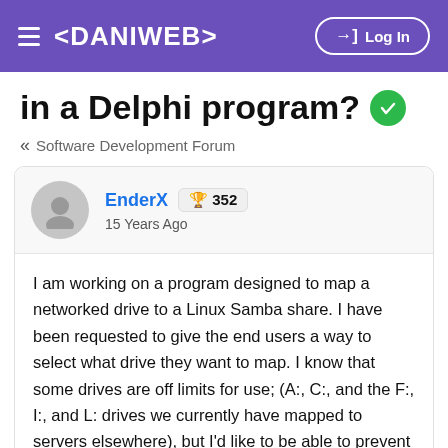≡ <DANIWEB>   →] Log In
in a Delphi program? ✓
« Software Development Forum
EnderX 🏆 352
15 Years Ago
I am working on a program designed to map a networked drive to a Linux Samba share. I have been requested to give the end users a way to select what drive they want to map. I know that some drives are off limits for use; (A:, C:, and the F:, I:, and L: drives we currently have mapped to servers elsewhere), but I'd like to be able to prevent other mapping conflicts as well. (Second CD/CDR/DVD drive, plugged in flash drives or zip drives, or even someone trying to run multiple copies of this program.)